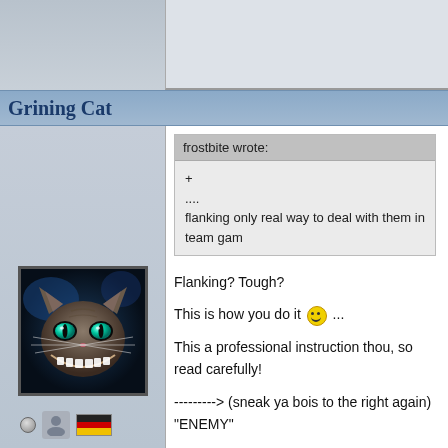Grining Cat
[Figure (illustration): Cheshire Cat digital artwork avatar - a grinning cat with glowing teal eyes on dark background]
Posts: 97
frostbite wrote:
+
....
flanking only real way to deal with them in team gam
Flanking? Tough?

This is how you do it :) ...

This a professional instruction thou, so read carefully!

---------> (sneak ya bois to the right again) "ENEMY"

m